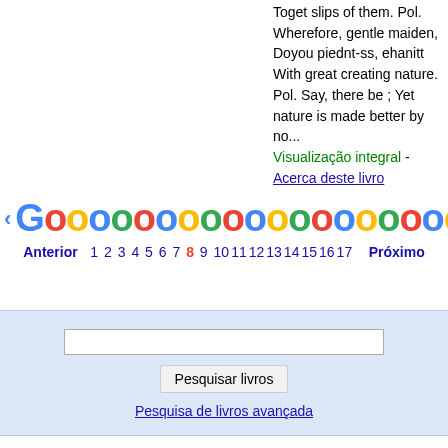Toget slips of them. Pol. Wherefore, gentle maiden, Doyou piednt-ss, ehanitt With great creating nature. Pol. Say, there be ; Yet nature is made better by no... Visualização integral - Acerca deste livro
[Figure (screenshot): Google pagination bar with left arrow, Google logo letters, right arrow, page numbers 1-17 with 8 highlighted in red]
[Figure (screenshot): Google Books search box with input field, Pesquisar livros button, and Pesquisa de livros avançada link on light blue background]